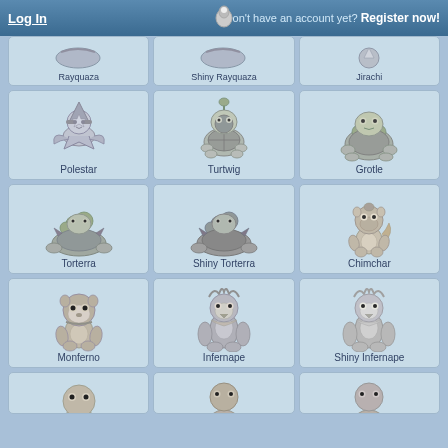Log In | Don't have an account yet? Register now!
[Figure (screenshot): Grid of Pokemon creature cards with names: Rayquaza, Shiny Rayquaza, Jirachi, Polestar, Turtwig, Grotle, Torterra, Shiny Torterra, Chimchar, Monferno, Infernape, Shiny Infernape, and partial row at bottom]
Rayquaza
Shiny Rayquaza
Jirachi
Polestar
Turtwig
Grotle
Torterra
Shiny Torterra
Chimchar
Monferno
Infernape
Shiny Infernape